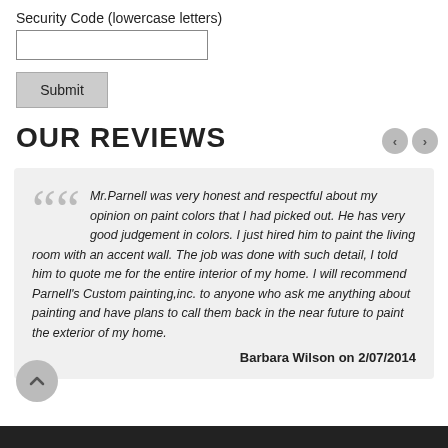Security Code (lowercase letters)
[Figure (other): Text input field for security code]
[Figure (other): Submit button]
OUR REVIEWS
Mr.Parnell was very honest and respectful about my opinion on paint colors that I had picked out. He has very good judgement in colors. I just hired him to paint the living room with an accent wall. The job was done with such detail, I told him to quote me for the entire interior of my home. I will recommend Parnell's Custom painting,inc. to anyone who ask me anything about painting and have plans to call them back in the near future to paint the exterior of my home.
Barbara Wilson on 2/07/2014